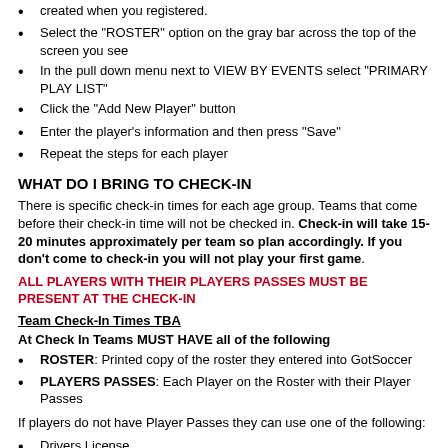created when you registered.
Select the “ROSTER” option on the gray bar across the top of the screen you see
In the pull down menu next to VIEW BY EVENTS select “PRIMARY PLAY LIST”
Click the “Add New Player” button
Enter the player’s information and then press “Save”
Repeat the steps for each player
WHAT DO I BRING TO CHECK-IN
There is specific check-in times for each age group. Teams that come before their check-in time will not be checked in. Check-in will take 15-20 minutes approximately per team so plan accordingly. If you don’t come to check-in you will not play your first game.
ALL PLAYERS WITH THEIR PLAYERS PASSES MUST BE PRESENT AT THE CHECK-IN
Team Check-In Times TBA
At Check In Teams MUST HAVE all of the following
ROSTER: Printed copy of the roster they entered into GotSoccer
PLAYERS PASSES: Each Player on the Roster with their Player Passes
If players do not have Player Passes they can use one of the following:
Drivers License